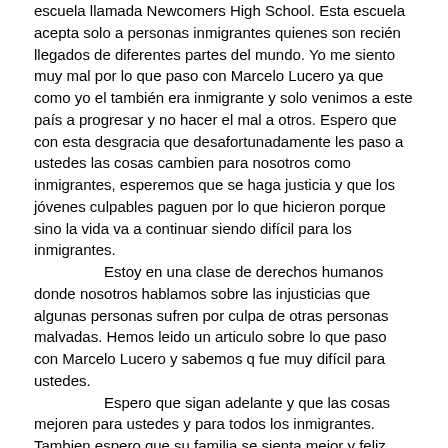escuela llamada Newcomers High School. Esta escuela acepta solo a personas inmigrantes quienes son recién llegados de diferentes partes del mundo. Yo me siento muy mal por lo que paso con Marcelo Lucero ya que como yo el también era inmigrante y solo venimos a este país a progresar y no hacer el mal a otros. Espero que con esta desgracia que desafortunadamente les paso a ustedes las cosas cambien para nosotros como inmigrantes, esperemos que se haga justicia y que los jóvenes culpables paguen por lo que hicieron porque sino la vida va a continuar siendo difícil para los inmigrantes.
Estoy en una clase de derechos humanos donde nosotros hablamos sobre las injusticias que algunas personas sufren por culpa de otras personas malvadas. Hemos leido un articulo sobre lo que paso con Marcelo Lucero y sabemos q fue muy difícil para ustedes.
Espero que sigan adelante y que las cosas mejoren para ustedes y para todos los inmigrantes. Tambien espero que su familia se sienta mejor y feliz.
Sincerely,
Cristian
Joselo Lucero y familia,